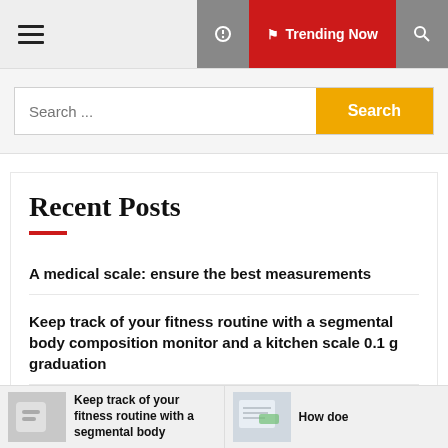☰  Trending Now
Search ...
Recent Posts
A medical scale: ensure the best measurements
Keep track of your fitness routine with a segmental body composition monitor and a kitchen scale 0.1 g graduation
How does a DNA test work?
Keep track of your fitness routine with a segmental body composition...   How doe